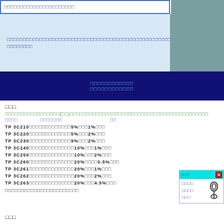□□□□□□□□□□□□□□□□□□□□□□
□□□□□□□□□□□□□□□□□□□□□□□□□□□□□□□□□□□□□□□□□□□□□□□□□□□□□□□□□□□□□□□□□□□
□□□□□□□□□□□□ □□□□□□□□□□□□
□□□
□□□□□□□□□□□□□□□□□(□□)□□□□□□□□□□□□□□□□□□□□□□□□□□□□□□□□□□□□□□□□□□□
TP 3C210□□□□□□□□□□□□□□5%□□□1%□□□
TP 3C220□□□□□□□□□□□□□□5%□□□2%□□□
TP 3C230□□□□□□□□□□□□□□9%□□□2%□□□
TP 3C240□□□□□□□□□□□□□□□10%□□□1%□□□
TP 3C250□□□□□□□□□□□□□□□10%□□□2%□□□
TP 3C260□□□□□□□□□□□□□□□20%□□□□0.5%□□□
TP 3C261□□□□□□□□□□□□□□□20%□□□1%□□□
TP 3C262□□□□□□□□□□□□□□□20%□□□2%□□□
TP 3C263□□□□□□□□□□□□□□□20%□□□4.5%□□□
□□□□□□□□□□□□□□□□□□□□□□
□□□